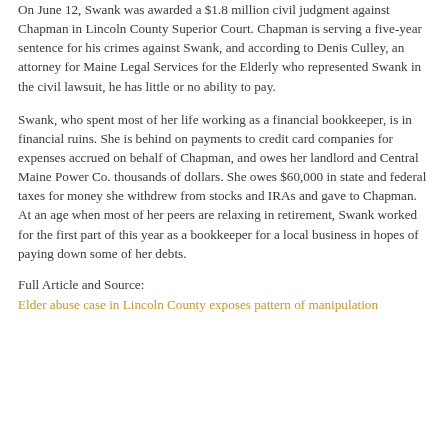On June 12, Swank was awarded a $1.8 million civil judgment against Chapman in Lincoln County Superior Court. Chapman is serving a five-year sentence for his crimes against Swank, and according to Denis Culley, an attorney for Maine Legal Services for the Elderly who represented Swank in the civil lawsuit, he has little or no ability to pay.
Swank, who spent most of her life working as a financial bookkeeper, is in financial ruins. She is behind on payments to credit card companies for expenses accrued on behalf of Chapman, and owes her landlord and Central Maine Power Co. thousands of dollars. She owes $60,000 in state and federal taxes for money she withdrew from stocks and IRAs and gave to Chapman. At an age when most of her peers are relaxing in retirement, Swank worked for the first part of this year as a bookkeeper for a local business in hopes of paying down some of her debts.
Full Article and Source:
Elder abuse case in Lincoln County exposes pattern of manipulation